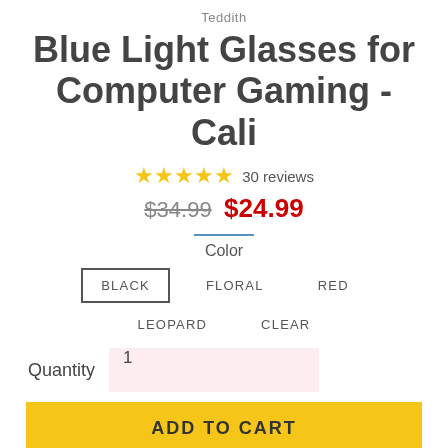Teddith
Blue Light Glasses for Computer Gaming - Cali
★★★★★ 30 reviews
$34.99  $24.99
Color
BLACK
FLORAL
RED
LEOPARD
CLEAR
Quantity  1
ADD TO CART